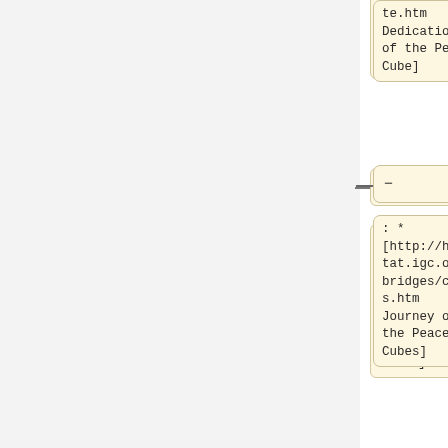te.htm Dedication of the Peace Cube]
-
: * [http://habitat.igc.org/bridges/cubes.htm Journey of the Peace Cubes]
-
: * [http://habitat.igc.org/one-light Light Cubes]